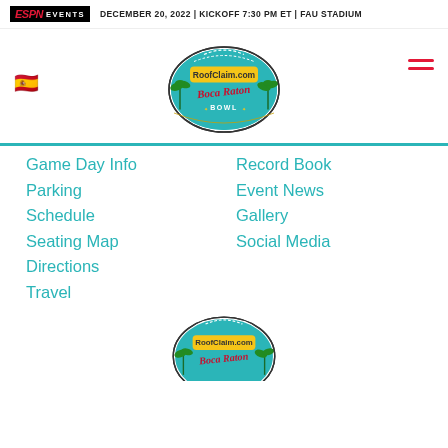ESPN EVENTS | DECEMBER 20, 2022 | KICKOFF 7:30 PM ET | FAU STADIUM
[Figure (logo): RoofClaim.com Boca Raton Bowl football logo]
Game Day Info
Record Book
Parking
Event News
Schedule
Gallery
Seating Map
Social Media
Directions
Travel
[Figure (logo): RoofClaim.com Boca Raton Bowl football logo (partial, bottom)]